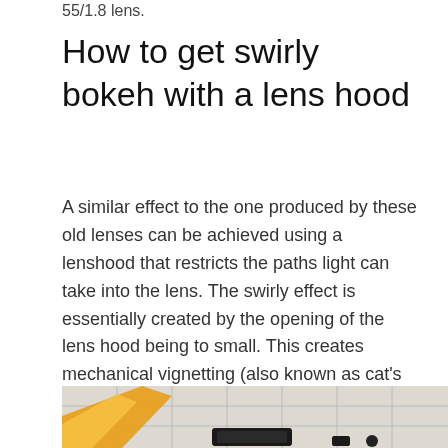55/1.8 lens.
How to get swirly bokeh with a lens hood
A similar effect to the one produced by these old lenses can be achieved using a lenshood that restricts the paths light can take into the lens. The swirly effect is essentially created by the opening of the lens hood being to small. This creates mechanical vignetting (also known as cat’s eye bokeh), blocking part of the light from hitting the sensor.
[Figure (photo): A photograph on graph paper showing what appears to be an orange/yellow diagonal shape and dark objects, likely demonstrating bokeh or vignetting effect.]